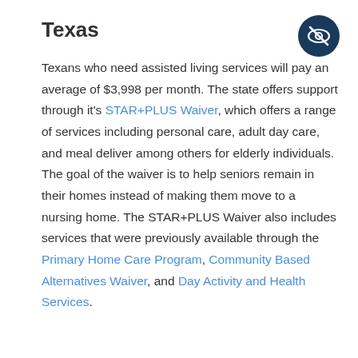Texas
[Figure (illustration): Circle icon with a crossed-out eye symbol (privacy/hidden icon) in dark blue]
Texans who need assisted living services will pay an average of $3,998 per month. The state offers support through it's STAR+PLUS Waiver, which offers a range of services including personal care, adult day care, and meal deliver among others for elderly individuals. The goal of the waiver is to help seniors remain in their homes instead of making them move to a nursing home. The STAR+PLUS Waiver also includes services that were previously available through the Primary Home Care Program, Community Based Alternatives Waiver, and Day Activity and Health Services.